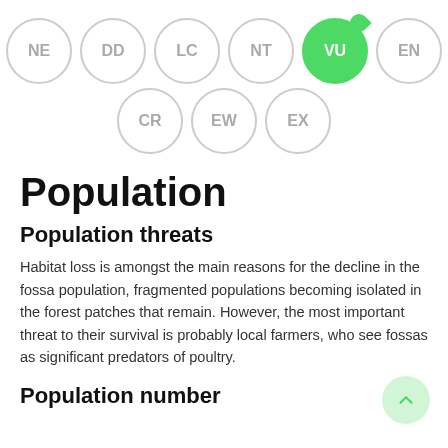[Figure (infographic): IUCN conservation status circles: NE, DD, LC, NT, VU (highlighted green/active), EN in top row; CR, EW, EX in second row]
Population
Population threats
Habitat loss is amongst the main reasons for the decline in the fossa population, fragmented populations becoming isolated in the forest patches that remain. However, the most important threat to their survival is probably local farmers, who see fossas as significant predators of poultry.
Population number